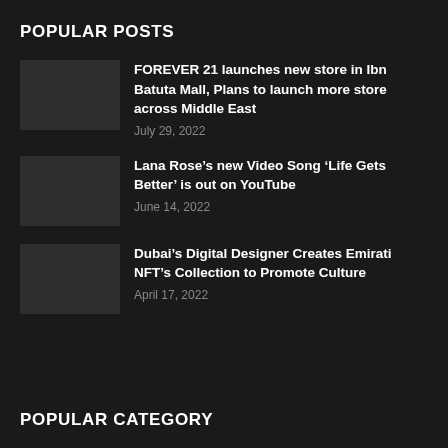POPULAR POSTS
FOREVER 21 launches new store in Ibn Batuta Mall, Plans to launch more store across Middle East | July 29, 2022
Lana Rose’s new Video Song ‘Life Gets Better’ is out on YouTube | June 14, 2022
Dubai’s Digital Designer Creates Emirati NFT’s Collection to Promote Culture | April 17, 2022
POPULAR CATEGORY